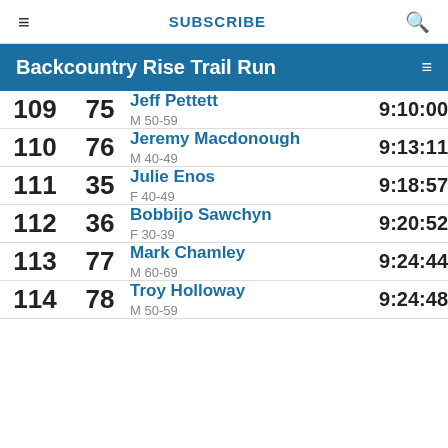≡  SUBSCRIBE  🔍
Backcountry Rise Trail Run
| Rank | Bib | Name / Category | Time |
| --- | --- | --- | --- |
| 109 | 75 | Jeff Pettett / M 50-59 | 9:10:00 |
| 110 | 76 | Jeremy Macdonough / M 40-49 | 9:13:11 |
| 111 | 35 | Julie Enos / F 40-49 | 9:18:57 |
| 112 | 36 | Bobbijo Sawchyn / F 30-39 | 9:20:52 |
| 113 | 77 | Mark Chamley / M 60-69 | 9:24:44 |
| 114 | 78 | Troy Holloway / M 50-59 | 9:24:48 |